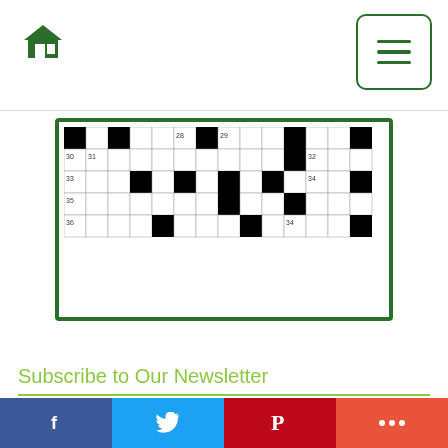[Figure (screenshot): Website navigation bar with green home icon on the left and green hamburger menu button on the right]
[Figure (illustration): Partial crossword puzzle grid inside a dark green border box, showing black and white cells with some numbers]
Subscribe to Our Newsletter
Email Address (required)
First Name
[Figure (other): Social sharing bar with Facebook, Twitter, Pinterest, and More buttons]